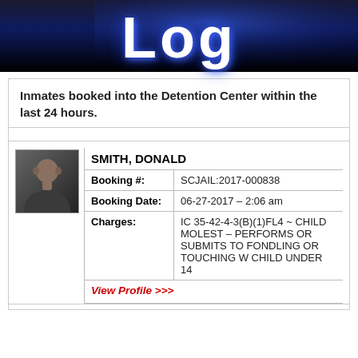[Figure (logo): Dark banner header with large white bold text 'Log' (partial, stylized) on a dark blue/black gradient background]
Inmates booked into the Detention Center within the last 24 hours.
|  | SMITH, DONALD |  |
| --- | --- | --- |
| Booking #: | SCJAIL:2017-000838 |
| Booking Date: | 06-27-2017 – 2:06 am |
| Charges: | IC 35-42-4-3(B)(1)FL4 ~ CHILD MOLEST – PERFORMS OR SUBMITS TO FONDLING OR TOUCHING W CHILD UNDER 14 |
| View Profile >>> |  |